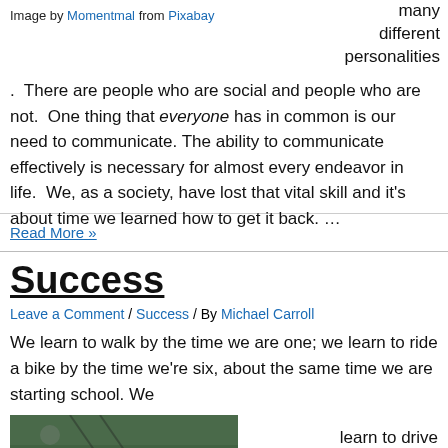Image by Momentmal from Pixabay
many different personalities
.  There are people who are social and people who are not.  One thing that everyone has in common is our need to communicate.  The ability to communicate effectively is necessary for almost every endeavor in life.  We, as a society, have lost that vital skill and it's about time we learned how to get it back. …
Read More »
Success
Leave a Comment / Success / By Michael Carroll
We learn to walk by the time we are one; we learn to ride a bike by the time we're six, about the same time we are starting school. We
[Figure (photo): Outdoor photo, partially visible at bottom of page]
learn to drive